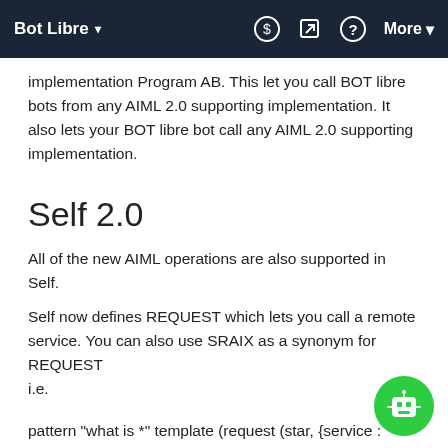Bot Libre ▾    $    ✎    ?    More ▾
implementation Program AB. This let you call BOT libre bots from any AIML 2.0 supporting implementation. It also lets your BOT libre bot call any AIML 2.0 supporting implementation.
Self 2.0
All of the new AIML operations are also supported in Self.
Self now defines REQUEST which lets you call a remote service. You can also use SRAIX as a synonym for REQUEST
i.e.
pattern "what is *" template (request (star, {service : #freebase}));